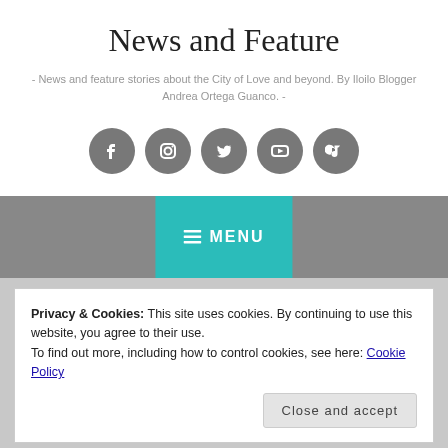News and Feature
- News and feature stories about the City of Love and beyond. By Iloilo Blogger Andrea Ortega Guanco. -
[Figure (other): Row of 5 circular social media icons (Facebook, Instagram, Twitter, YouTube, TikTok) in grey]
MENU
Privacy & Cookies: This site uses cookies. By continuing to use this website, you agree to their use.
To find out more, including how to control cookies, see here: Cookie Policy
Close and accept
June 1, 2023 · Andrea Ortega Guanco